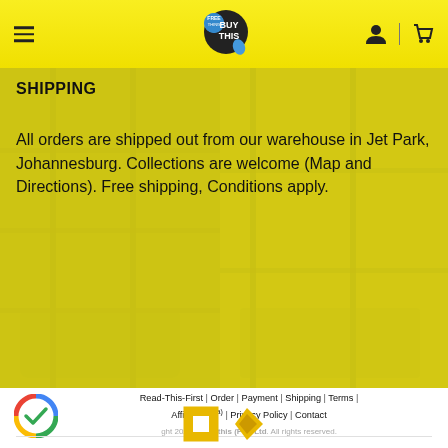BUY THIS (logo header with hamburger menu, user icon, cart icon)
SHIPPING
All orders are shipped out from our warehouse in Jet Park, Johannesburg. Collections are welcome (Map and Directions). Free shipping, Conditions apply.
[Figure (photo): Yellow-tinted warehouse/storage shelves background image]
Read-This-First | Order | Payment | Shipping | Terms | Affiliate (Beta) | Privacy Policy | Contact
Copyright 2022 © Buythis (Pty) Ltd. All rights reserved.
[Figure (logo): Google verified checkmark circular logo]
[Figure (logo): Bottom brand partner icons - white square logo and yellow diamond/arrow logo]